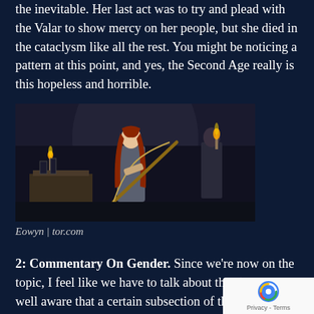the inevitable. Her last act was to try and plead with the Valar to show mercy on her people, but she died in the cataclysm like all the rest. You might be noticing a pattern at this point, and yes, the Second Age really is this hopeless and horrible.
[Figure (photo): A woman with long red hair holds a large bow in a dark medieval-looking interior setting. Another figure is visible in the background. Scene appears to be from a fantasy film or TV show.]
Eowyn | tor.com
2: Commentary On Gender. Since we're now on the topic, I feel like we have to talk about this (though I'm well aware that a certain subsection of the Tolkien fandom would rather not). Truth is, you can't read the tale of The Mariner's Wife, the most complete extant